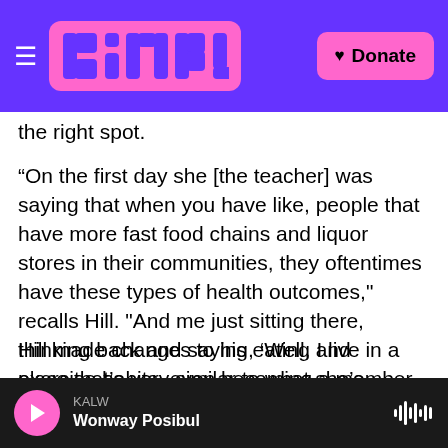KALW | Donate
the right spot.
“On the first day she [the teacher] was saying that when you have like, people that have more fast food chains and liquor stores in their communities, they oftentimes have these types of health outcomes," recalls Hill. "And me just sitting there, thinking back and saying, ‘Well, I live in a place that’s very similar to what she’s talking about. My grandparents, they have diabetes.’"
Hill made changes to his eating and exercise habits, even becoming a member of 24-Hour Fitness on 16th and Potrero. He dropped more
KALW
Wonway Posibul